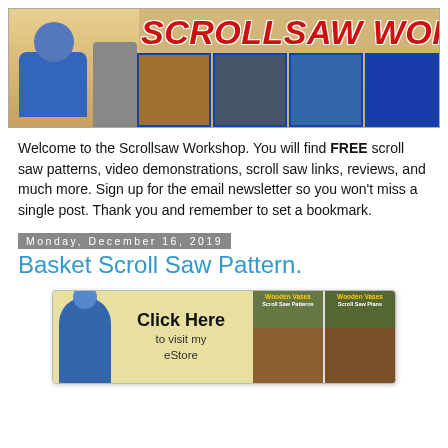[Figure (illustration): Scrollsaw Workshop banner with logo, person in blue shirt, scroll saw machine, and thumbnail images of craft projects]
Welcome to the Scrollsaw Workshop. You will find FREE scroll saw patterns, video demonstrations, scroll saw links, reviews, and much more. Sign up for the email newsletter so you won't miss a single post. Thank you and remember to set a bookmark.
Monday, December 16, 2019
Basket Scroll Saw Pattern.
[Figure (illustration): Advertisement banner: Click Here to visit my eStore, showing a person in blue shirt and two book covers for Wooden Vases scroll saw patterns]